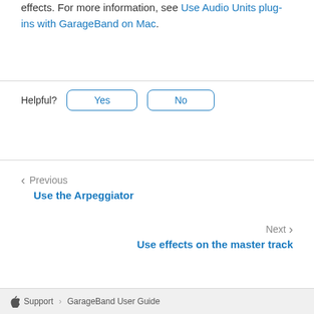effects. For more information, see Use Audio Units plug-ins with GarageBand on Mac.
Helpful? [Yes] [No]
Previous
Use the Arpeggiator
Next
Use effects on the master track
Support › GarageBand User Guide